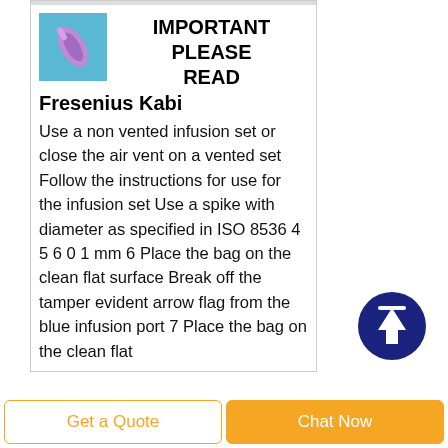[Figure (illustration): Small blue background image of a purple/pink infusion port or medical device tip]
IMPORTANT PLEASE READFresenius Kabi
Use a non vented infusion set or close the air vent on a vented set Follow the instructions for use for the infusion set Use a spike with diameter as specified in ISO 8536 4 5 6 0 1 mm 6 Place the bag on the clean flat surface Break off the tamper evident arrow flag from the blue infusion port 7 Place the bag on the clean flat
[Figure (illustration): Dark blue circular scroll-to-top button with white upward arrow icon]
Get a Quote
Chat Now